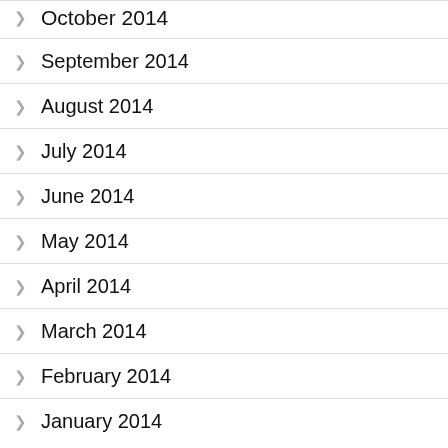October 2014
September 2014
August 2014
July 2014
June 2014
May 2014
April 2014
March 2014
February 2014
January 2014